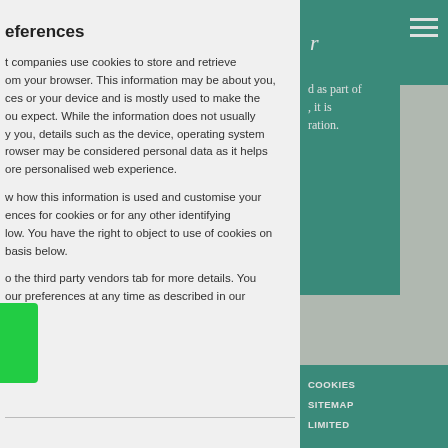eferences
t companies use cookies to store and retrieve om your browser. This information may be about you, ces or your device and is mostly used to make the ou expect. While the information does not usually y you, details such as the device, operating system rowser may be considered personal data as it helps ore personalised web experience.
w how this information is used and customise your ences for cookies or for any other identifying low. You have the right to object to use of cookies on basis below.
o the third party vendors tab for more details. You our preferences at any time as described in our
[Figure (screenshot): Right panel showing teal navigation bar with partial text 'r', hamburger menu icon, partial text 'd as part of , it is ration.', gray boxes, and footer links COOKIES, SITEMAP, LIMITED]